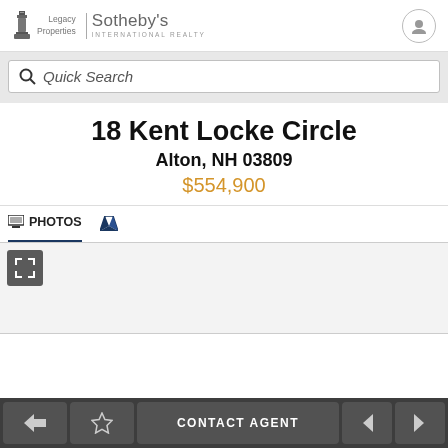[Figure (logo): Legacy Properties Sotheby's International Realty logo with lighthouse icon]
Quick Search
18 Kent Locke Circle
Alton, NH 03809
$554,900
PHOTOS
[Figure (screenshot): Property photo area with expand icon]
CONTACT AGENT